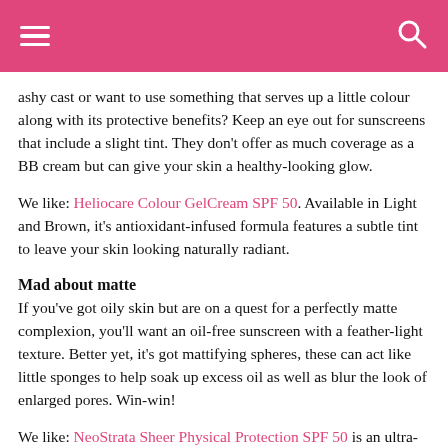[hamburger menu] [search icon]
ashy cast or want to use something that serves up a little colour along with its protective benefits? Keep an eye out for sunscreens that include a slight tint. They don't offer as much coverage as a BB cream but can give your skin a healthy-looking glow.
We like: Heliocare Colour GelCream SPF 50. Available in Light and Brown, it's antioxidant-infused formula features a subtle tint to leave your skin looking naturally radiant.
Mad about matte
If you've got oily skin but are on a quest for a perfectly matte complexion, you'll want an oil-free sunscreen with a feather-light texture. Better yet, it's got mattifying spheres, these can act like little sponges to help soak up excess oil as well as blur the look of enlarged pores. Win-win!
We like: NeoStrata Sheer Physical Protection SPF 50 is an ultra-lightweight mineral formulation enhanced with antioxidant green tea to help protect your skin cell's DNA.